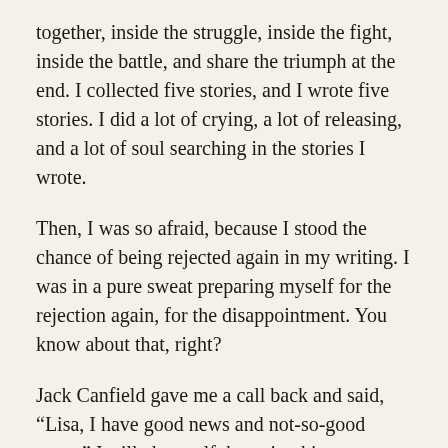together, inside the struggle, inside the fight, inside the battle, and share the triumph at the end. I collected five stories, and I wrote five stories. I did a lot of crying, a lot of releasing, and a lot of soul searching in the stories I wrote.
Then, I was so afraid, because I stood the chance of being rejected again in my writing. I was in a pure sweat preparing myself for the rejection again, for the disappointment. You know about that, right?
Jack Canfield gave me a call back and said, “Lisa, I have good news and not-so-good news.” I stilled myself, knowing his response would be to say it was the weakest writing he had ever read in his life. I felt my English teacher right there. Then, he said, “I only liked five of the 10 stories you